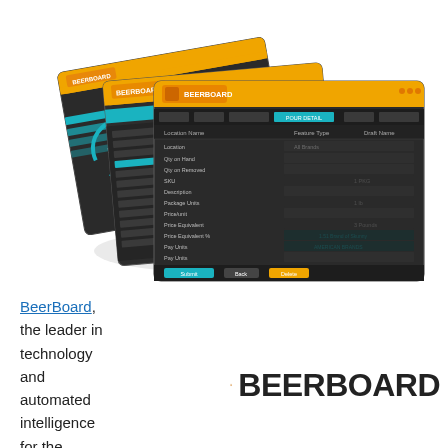[Figure (screenshot): Three overlapping dark-themed BeerBoard software dashboard screenshots shown in a cascading/isometric arrangement. Each screen has a yellow/orange header bar with the BeerBoard logo and dark background with teal/green UI elements and data panels.]
BeerBoard, the leader in technology and automated intelligence for the...
[Figure (logo): BeerBoard logo: a beer glass icon in orange/amber tones on the left, and the text BEERBOARD in large bold black letters on the right.]